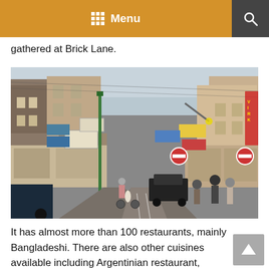Menu
gathered at Brick Lane.
[Figure (photo): Street view of Brick Lane showing shops, signs, pedestrians, cyclists, and vehicles on a busy urban street.]
It has almost more than 100 restaurants, mainly Bangladeshi. There are also other cuisines available including Argentinian restaurant, Japanese restaurants, Mexican restaurant, Cafes, Thai